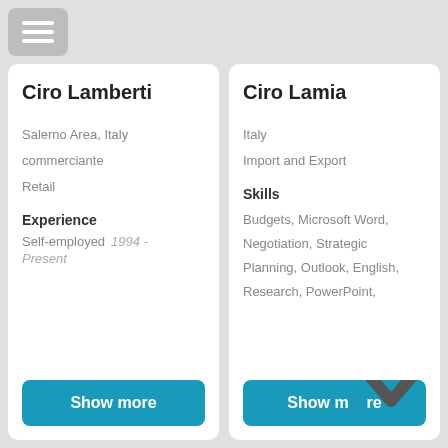[Figure (screenshot): Hamburger menu button top-left]
Ciro Lamberti
Salerno Area, Italy
commerciante
Retail
Experience
Self-employed   1994 - Present
Show more
Ciro Lamia
Italy
Import and Export
Skills
Budgets, Microsoft Word, Negotiation, Strategic Planning, Outlook, English, Research, PowerPoint,
Show more